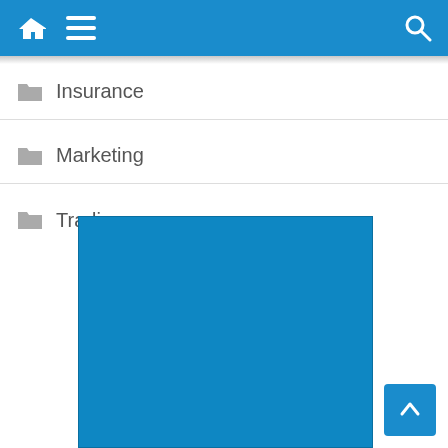Navigation bar with home, menu, and search icons
Insurance
Marketing
Trading
[Figure (other): Large blue rectangle placeholder image]